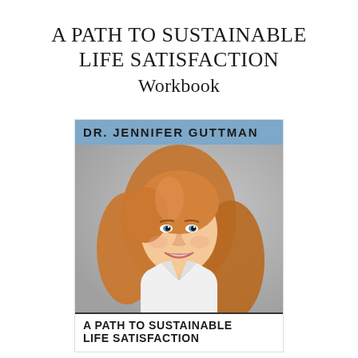A PATH TO SUSTAINABLE LIFE SATISFACTION
Workbook
[Figure (photo): Book cover image showing Dr. Jennifer Guttman, a woman with long red hair and a white blazer, smiling. The cover has a blue banner at top with her name, a photo of her, and the book title 'A PATH TO SUSTAINABLE LIFE SATISFACTION' at the bottom.]